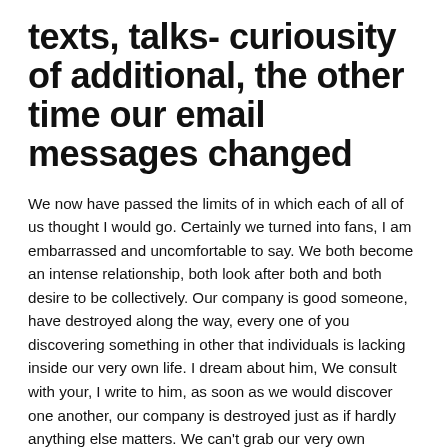texts, talks- curiousity of additional, the other time our email messages changed
We now have passed the limits of in which each of all of us thought I would go. Certainly we turned into fans, I am embarrassed and uncomfortable to say. We both become an intense relationship, both look after both and both desire to be collectively. Our company is good someone, have destroyed along the way, every one of you discovering something in other that individuals is lacking inside our very own life. I dream about him, We consult with your, I write to him, as soon as we would discover one another, our company is destroyed just as if hardly anything else matters. We can't grab our very own attention off both. But once we're alone, its blissful, sensual, passionate, intense, energizing, we have been mesmerized by both, we discover in both all of the support and psychological hookup we don't give all of our partners. We each have-not